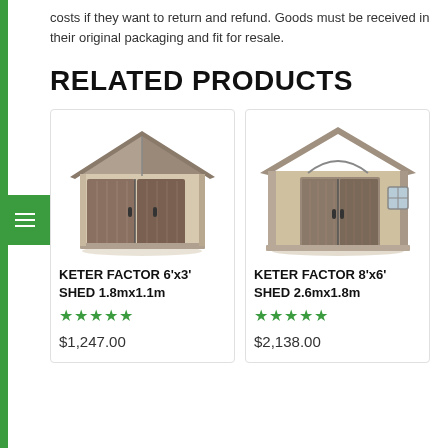costs if they want to return and refund. Goods must be received in their original packaging and fit for resale.
RELATED PRODUCTS
[Figure (photo): Keter Factor 6x3 shed, beige/brown plastic outdoor storage shed]
KETER FACTOR 6'x3' SHED 1.8mx1.1m
★★★★★
$1,247.00
[Figure (photo): Keter Factor 8x6 shed, beige/grey plastic outdoor storage shed with window]
KETER FACTOR 8'x6' SHED 2.6mx1.8m
★★★★★
$2,138.00